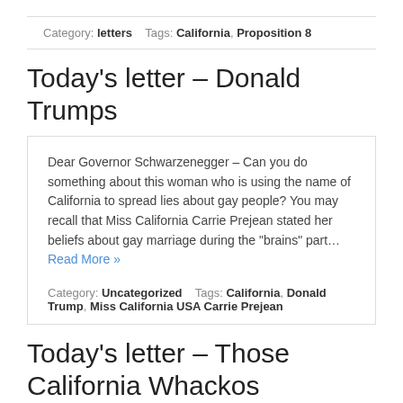Category: letters   Tags: California, Proposition 8
Today's letter – Donald Trumps
Dear Governor Schwarzenegger – Can you do something about this woman who is using the name of California to spread lies about gay people? You may recall that Miss California Carrie Prejean stated her beliefs about gay marriage during the "brains" part… Read More »
Category: Uncategorized   Tags: California, Donald Trump, Miss California USA Carrie Prejean
Today's letter – Those California Whackos